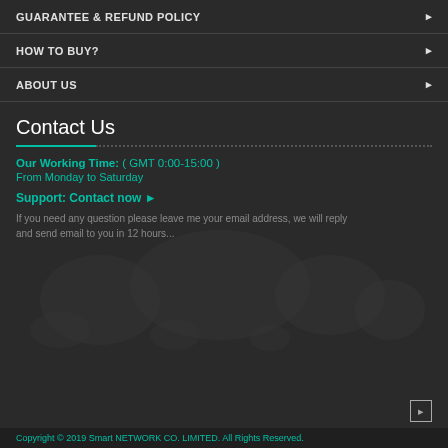GUARANTEE & REFUND POLICY
HOW TO BUY?
ABOUT US
Contact Us
Our Working Time: ( GMT 0:00-15:00 )
From Monday to Saturday
Support: Contact now ➤
If you need any question please leave me your email address, we will reply and send email to you in 12 hours...
Copyright © 2019 Smart NETWORK CO. LIMITED. All Rights Reserved.